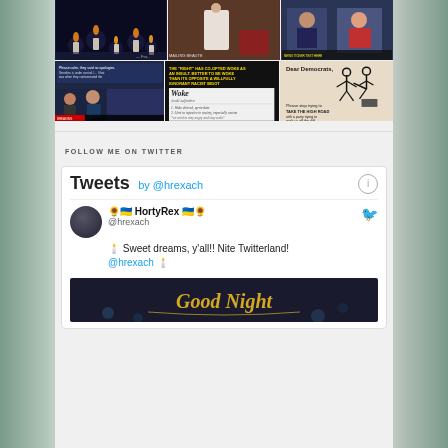[Figure (screenshot): Grid of 6 social media images: top row has candle/lights photo, TV show/movie still, TV news debate screenshot; bottom row has news broadcast screenshot, 'woke' definition meme with yellow text on black, 'Dear Democrats' meme with stick figure and text about taking the high road]
FOLLOW ME ON TWITTER
[Figure (screenshot): Twitter widget showing Tweets by @hrexach. Tweet from HortyRex @hrexach: 'Sweet dreams, y'all!! Nite Twitterland! @hrexach' with candle emojis. Below is a 'Good Night' image with golden cursive text on dark background.]